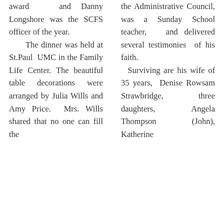award and Danny Longshore was the SCFS officer of the year. The dinner was held at St.Paul UMC in the Family Life Center. The beautiful table decorations were arranged by Julia Wills and Amy Price. Mrs. Wills shared that no one can fill the
the Administrative Council, was a Sunday School teacher, and delivered several testimonies of his faith. Surviving are his wife of 35 years, Denise Rowsam Strawbridge, three daughters, Angela Thompson (John), Katherine